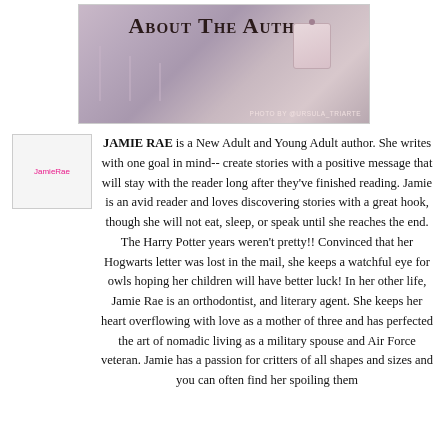[Figure (photo): Banner image with text 'ABOUT THE AUTHOR' over a soft purple/mauve background with blurred book spines and a gift tag. Photo credit: PHOTO BY @URSULA_TRIARTE]
[Figure (photo): Small author photo placeholder labeled 'JamieRae']
JAMIE RAE is a New Adult and Young Adult author. She writes with one goal in mind-- create stories with a positive message that will stay with the reader long after they've finished reading. Jamie is an avid reader and loves discovering stories with a great hook, though she will not eat, sleep, or speak until she reaches the end. The Harry Potter years weren't pretty!! Convinced that her Hogwarts letter was lost in the mail, she keeps a watchful eye for owls hoping her children will have better luck! In her other life, Jamie Rae is an orthodontist, and literary agent. She keeps her heart overflowing with love as a mother of three and has perfected the art of nomadic living as a military spouse and Air Force veteran. Jamie has a passion for critters of all shapes and sizes and you can often find her spoiling them